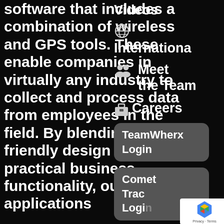software that includes a combination of wireless and GPS tools. These enable companies in virtually any industry to collect and process data from employees in the field. By blending user-friendly design with practical business functionality, our applications and effective...
Videos
International
Meet the Team
Careers
[Figure (screenshot): TeamWherx Login button (dark rounded rectangle)]
[Figure (screenshot): Comet Track Login button (dark rounded rectangle) with reCAPTCHA badge overlaid]